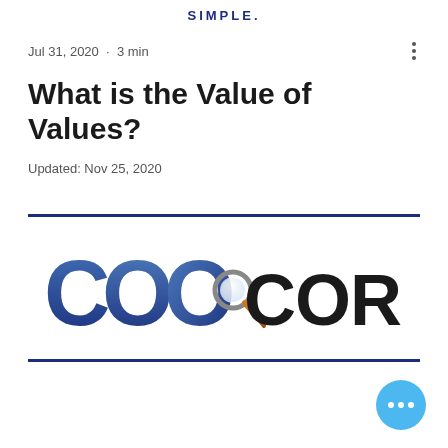SIMPLE.
Jul 31, 2020  ·  3 min
What is the Value of Values?
Updated: Nov 25, 2020
[Figure (logo): COO Corner logo with magnifying glass icon between two large O letters and 'CORNER' text]